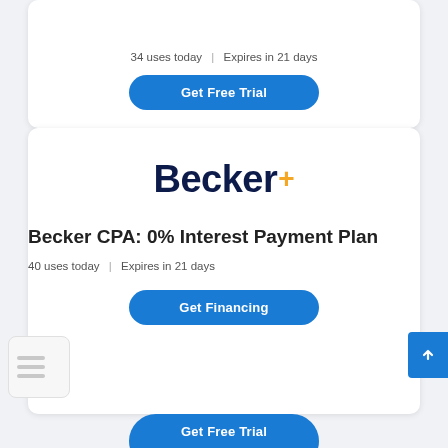34 uses today | Expires in 21 days
Get Free Trial
[Figure (logo): Becker logo with 'Becker' in dark navy bold text and a gold plus/star symbol]
Becker CPA: 0% Interest Payment Plan
40 uses today | Expires in 21 days
Get Financing